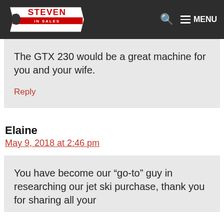Steven in Sales — site header with logo, search icon, and MENU button
The GTX 230 would be a great machine for you and your wife.
Reply
Elaine
May 9, 2018 at 2:46 pm
You have become our “go-to” guy in researching our jet ski purchase, thank you for sharing all your